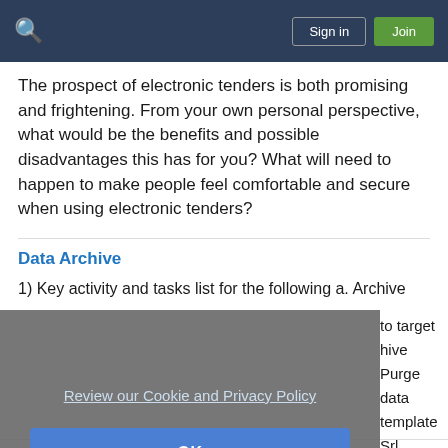Sign in | Join
The prospect of electronic tenders is both promising and frightening. From your own personal perspective, what would be the benefits and possible disadvantages this has for you? What will need to happen to make people feel comfortable and secure when using electronic tenders?
Data Archive
1) Key activity and tasks list for the following a. Archive to target hive Purge data template Srl
[Figure (screenshot): Cookie consent modal overlay with 'Review our Cookie and Privacy Policy' link and an 'OK' button on a grey semi-transparent background]